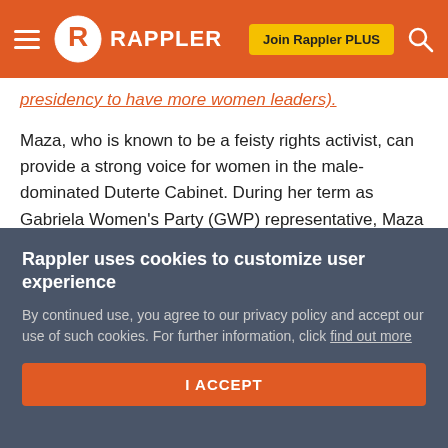RAPPLER
presidency to have more women leaders).
Maza, who is known to be a feisty rights activist, can provide a strong voice for women in the male-dominated Duterte Cabinet. During her term as Gabriela Women's Party (GWP) representative, Maza was among the authors and a sponsor of the Anti-Trafficking in Persons Act of 2003 and a co-author of the Anti-Violence in Women and Children Act (Anti-VAWC) and the Juvenile Justice Act.
After she lost her Senate bid in 2010, Maza headed the
Rappler uses cookies to customize user experience
By continued use, you agree to our privacy policy and accept our use of such cookies. For further information, click find out more
I ACCEPT